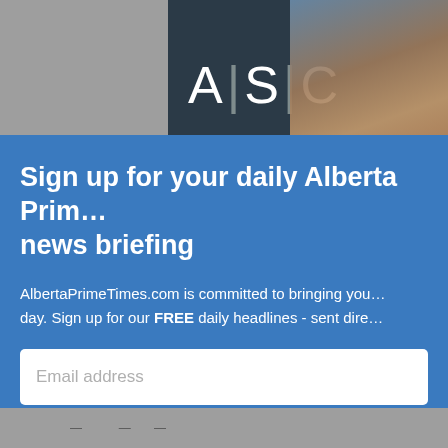[Figure (screenshot): ASC logo on dark background with photo of two people in upper right]
Sign up for your daily Alberta Prim… news briefing
AlbertaPrimeTimes.com is committed to bringing you… day. Sign up for our FREE daily headlines - sent dire…
Email address
Don't worry: we won't share your information with anyone, and you…